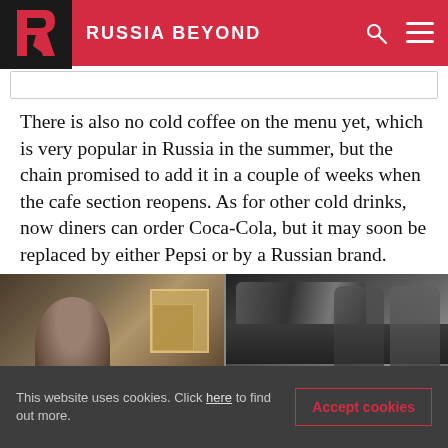RUSSIA BEYOND
There is also no cold coffee on the menu yet, which is very popular in Russia in the summer, but the chain promised to add it in a couple of weeks when the cafe section reopens. As for other cold drinks, now diners can order Coca-Cola, but it may soon be replaced by either Pepsi or by a Russian brand.
[Figure (photo): Two-panel photo: left panel shows a person working with boxes and equipment; right panel shows dark equipment or seats close-up.]
This website uses cookies. Click here to find out more.